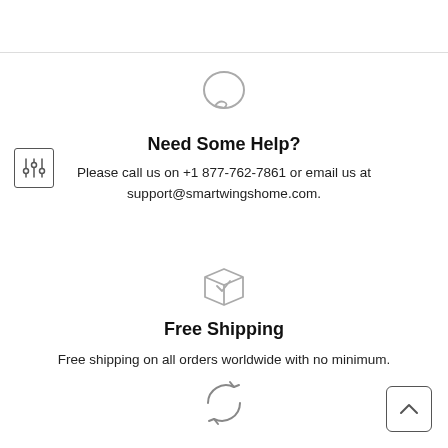[Figure (illustration): Chat/speech bubble icon (circle outline with small tail)]
[Figure (illustration): Filter/settings sliders icon inside a square border]
Need Some Help?
Please call us on +1 877-762-7861 or email us at support@smartwingshome.com.
[Figure (illustration): Box/package icon with checkmark]
Free Shipping
Free shipping on all orders worldwide with no minimum.
[Figure (illustration): Refresh/sync circular arrows icon]
[Figure (illustration): Back to top arrow icon inside a rounded square border]